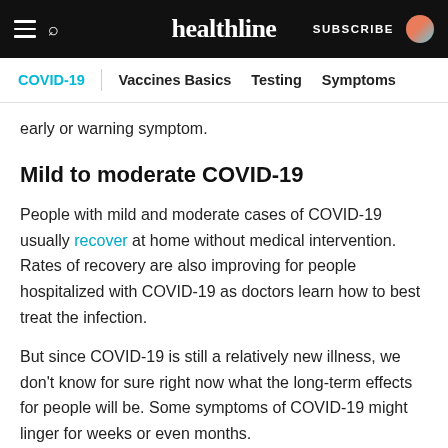healthline — SUBSCRIBE
COVID-19 | Vaccines Basics | Testing | Symptoms
early or warning symptom.
Mild to moderate COVID-19
People with mild and moderate cases of COVID-19 usually recover at home without medical intervention. Rates of recovery are also improving for people hospitalized with COVID-19 as doctors learn how to best treat the infection.
But since COVID-19 is still a relatively new illness, we don't know for sure right now what the long-term effects for people will be. Some symptoms of COVID-19 might linger for weeks or even months.